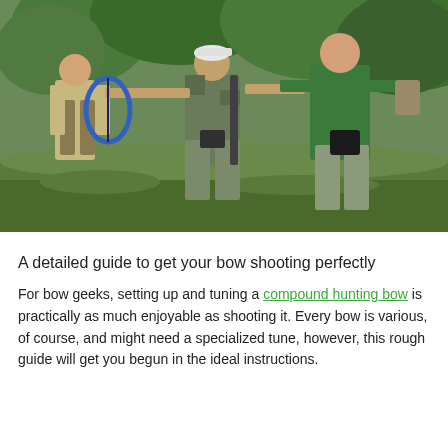[Figure (photo): Three men outdoors in a grassy wooded area. The man in the center wears camouflage clothing and a white cap and is drawing a blue compound bow. The man on the left wears a tan shirt and holds equipment. The man on the right wears a green polo shirt and holds gear. Green trees and grass in the background.]
A detailed guide to get your bow shooting perfectly
For bow geeks, setting up and tuning a compound hunting bow is practically as much enjoyable as shooting it. Every bow is various, of course, and might need a specialized tune, however, this rough guide will get you begun in the ideal instructions.